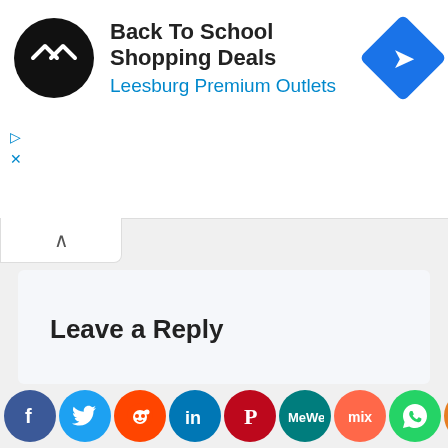[Figure (screenshot): Ad banner for Back To School Shopping Deals at Leesburg Premium Outlets with logo and navigation icon]
Back To School Shopping Deals
Leesburg Premium Outlets
Leave a Reply
Your email address will not be published.
Required fields are marked *
Comment *
[Figure (infographic): Social sharing buttons: Facebook, Twitter, Reddit, LinkedIn, Pinterest, MeWe, Mix, WhatsApp, Share]